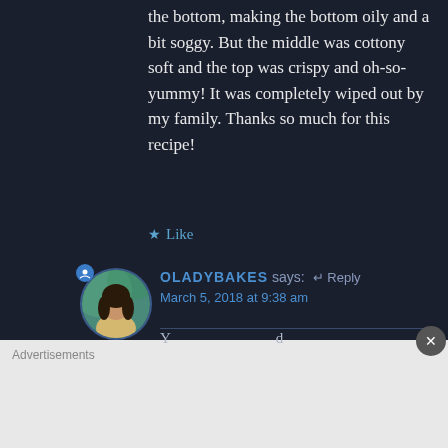the bottom, making the bottom oily and a bit soggy. But the middle was cottony soft and the top was crispy and oh-so-yummy! It was completely wiped out by my family. Thanks so much for this recipe!
★ Like
[Figure (photo): Circular avatar photo of a woman with dark hair, wearing a light-colored top, with a blue-green background]
OLADYBAKES says: ↵ Reply
March 5, 2018 at 9:38 am
Advertisements